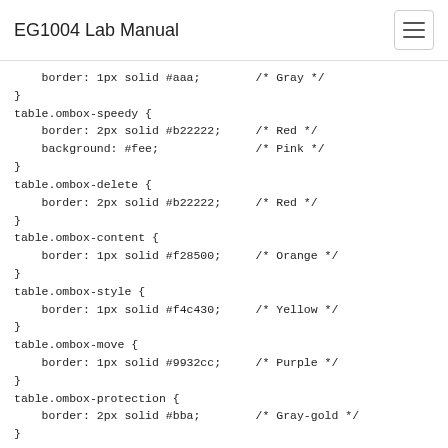EG1004 Lab Manual
border: 1px solid #aaa;        /* Gray */
}
table.ombox-speedy {
    border: 2px solid #b22222;     /* Red */
    background: #fee;              /* Pink */
}
table.ombox-delete {
    border: 2px solid #b22222;     /* Red */
}
table.ombox-content {
    border: 1px solid #f28500;     /* Orange */
}
table.ombox-style {
    border: 1px solid #f4c430;     /* Yellow */
}
table.ombox-move {
    border: 1px solid #9932cc;     /* Purple */
}
table.ombox-protection {
    border: 2px solid #bba;        /* Gray-gold */
}